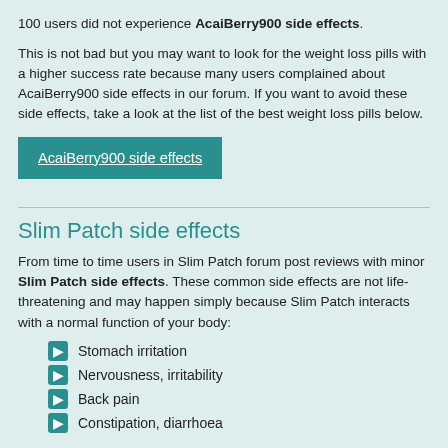100 users did not experience AcaiBerry900 side effects.
This is not bad but you may want to look for the weight loss pills with a higher success rate because many users complained about AcaiBerry900 side effects in our forum. If you want to avoid these side effects, take a look at the list of the best weight loss pills below.
AcaiBerry900 side effects
Slim Patch side effects
From time to time users in Slim Patch forum post reviews with minor Slim Patch side effects. These common side effects are not life-threatening and may happen simply because Slim Patch interacts with a normal function of your body:
Stomach irritation
Nervousness, irritability
Back pain
Constipation, diarrhoea